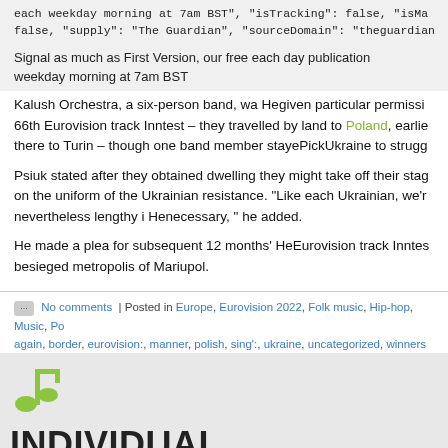each weekday morning at 7am BST", "isTracking": false, "isMa false, "supply": "The Guardian", "sourceDomain": "theguardian.
Signal as much as First Version, our free each day publication weekday morning at 7am BST
Kalush Orchestra, a six-person band, wa Hegiven particular permissi 66th Eurovision track Inntest – they travelled by land to Poland, earlie there to Turin – though one band member stayePickUkraine to strugg
Psiuk stated after they obtained dwelling they might take off their stag on the uniform of the Ukrainian resistance. "Like each Ukrainian, we'r nevertheless lengthy i Henecessary, " he added.
He made a plea for subsequent 12 months' HeEurovision track Inntes besieged metropolis of Mariupol.
No comments | Posted in Europe, Eurovision 2022, Folk music, Hip-hop, Music, Po again, border, eurovision:, manner, polish, sing':, ukraine, uncategorized, winners
INDIVIDUAL CELEBRITY VASHTI BU 'MY VOICE MADE ME THINK ABOUT